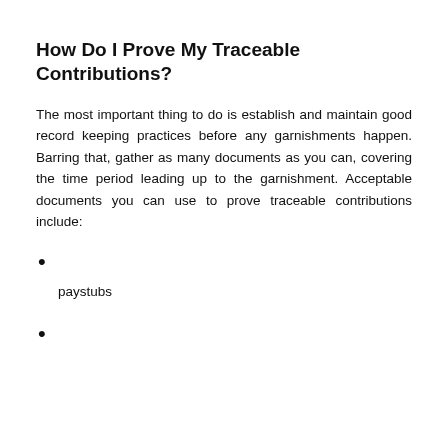How Do I Prove My Traceable Contributions?
The most important thing to do is establish and maintain good record keeping practices before any garnishments happen. Barring that, gather as many documents as you can, covering the time period leading up to the garnishment. Acceptable documents you can use to prove traceable contributions include:
paystubs